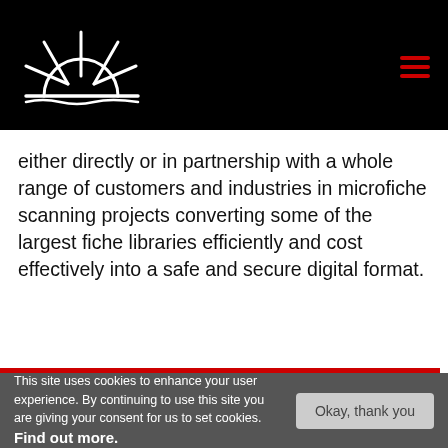[Figure (logo): SunRise Imaging logo — white sun/rays icon above the text 'SunRise Imaging' in white on black background, with red hamburger menu icon top right]
either directly or in partnership with a whole range of customers and industries in microfiche scanning projects converting some of the largest fiche libraries efficiently and cost effectively into a safe and secure digital format.
This site uses cookies to enhance your user experience. By continuing to use this site you are giving your consent for us to set cookies. Find out more.